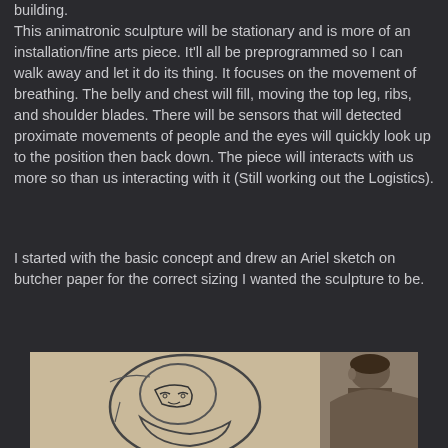building.
This animatronic sculpture will be stationary and is more of an installation/fine arts piece. It'll all be preprogrammed so I can walk away and let it do its thing. It focuses on the movement of breathing. The belly and chest will fill, moving the top leg, ribs, and shoulder blades. There will be sensors that will detected proximate movements of people and the eyes will quickly look up to the position then back down. The piece will interacts with us more so than us interacting with it (Still working out the Logistics).
I started with the basic concept and drew an Ariel sketch on butcher paper for the correct sizing I wanted the sculpture to be.
[Figure (photo): A person viewed from behind looking at a large sketch drawing on butcher paper showing an animatronic figure outline.]